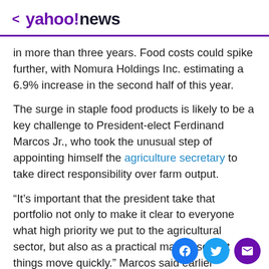< yahoo!news
in more than three years. Food costs could spike further, with Nomura Holdings Inc. estimating a 6.9% increase in the second half of this year.
The surge in staple food products is likely to be a key challenge to President-elect Ferdinand Marcos Jr., who took the unusual step of appointing himself the agriculture secretary to take direct responsibility over farm output.
“It’s important that the president take that portfolio not only to make it clear to everyone what high priority we put to the agricultural sector, but also as a practical matter, so that things move quickly.” Marcos said earlier